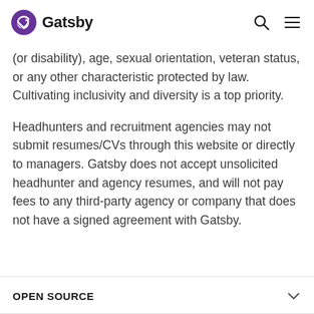Gatsby
(or disability), age, sexual orientation, veteran status, or any other characteristic protected by law. Cultivating inclusivity and diversity is a top priority.
Headhunters and recruitment agencies may not submit resumes/CVs through this website or directly to managers. Gatsby does not accept unsolicited headhunter and agency resumes, and will not pay fees to any third-party agency or company that does not have a signed agreement with Gatsby.
OPEN SOURCE